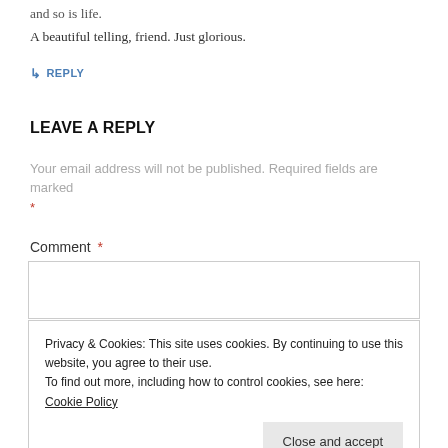and so is life.
A beautiful telling, friend. Just glorious.
↳ REPLY
LEAVE A REPLY
Your email address will not be published. Required fields are marked *
Comment *
Privacy & Cookies: This site uses cookies. By continuing to use this website, you agree to their use.
To find out more, including how to control cookies, see here: Cookie Policy
Close and accept